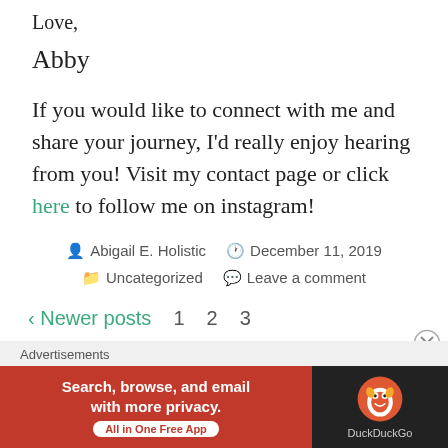Love,
Abby
If you would like to connect with me and share your journey, I'd really enjoy hearing from you! Visit my contact page or click here to follow me on instagram!
Abigail E. Holistic   December 11, 2019   Uncategorized   Leave a comment
< Newer posts   1   2   3
Advertisements
[Figure (infographic): DuckDuckGo advertisement banner: red section with text 'Search, browse, and email with more privacy. All in One Free App' and dark section with DuckDuckGo duck logo and brand name.]